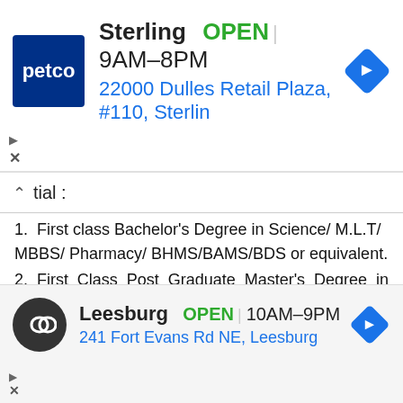[Figure (screenshot): Petco Sterling store ad banner: petco logo, Sterling OPEN 9AM-8PM, 22000 Dulles Retail Plaza #110, Sterlin, navigation icon]
tial :
1. First class Bachelor's Degree in Science/ M.L.T/ MBBS/ Pharmacy/ BHMS/BAMS/BDS or equivalent.
2. First Class Post Graduate Master's Degree in M.L.T/ MD/ MDH/ Bio-Chemistry/ Microbiology/ Biotechnology/ Pharmacology/ Pharmacy or other equivalent such post graduate degree in medical sciences with Ph.D.
3. Mir                                      from institu                                          Period                                              Direct Recrui
[Figure (screenshot): Leesburg store ad banner: infinity logo, Leesburg OPEN 10AM-9PM, 241 Fort Evans Rd NE, Leesburg, navigation icon]